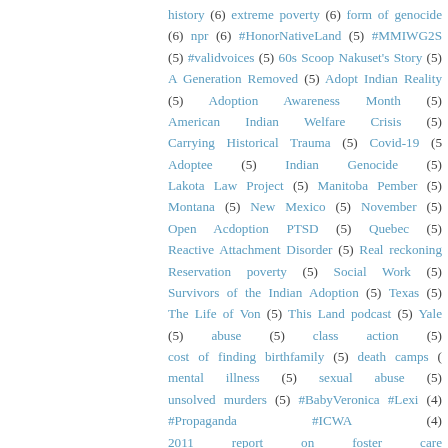history (6) extreme poverty (6) form of genocide (6) npr (6) #HonorNativeLand (5) #MMIWG2S (5) #validvoices (5) 60s Scoop Nakuset's Story (5) A Generation Removed (5) Adopt Indian Reality (5) Adoption Awareness Month (5) American Indian Welfare Crisis (5) Carrying Historical Trauma (5) Covid-19 (5) Adoptee (5) Indian Genocide (5) Lakota Law Project (5) Manitoba Pember (5) Montana (5) New Mexico (5) November (5) Open Adoption PTSD (5) Quebec (5) Reactive Attachment Disorder (5) Real reckoning Reservation poverty (5) Social Work (5) Survivors of the Indian Adoption (5) Texas (5) The Life of Von (5) This Land podcast (5) Yale (5) abuse (5) class action (5) cost of finding birthfamily (5) death camps (5) mental illness (5) sexual abuse (5) unsolved murders (5) #BabyVeronica #Lexi (4) #Propaganda #ICWA (4) 2011 report on foster care Shouldn't Have to Use Facebook to Find Their Birth Parents (4) Adoptive Couple v. Baby Girl (4) Al Jazeera (4) Apology (4) Birthmothers (4) Breaking News (4) Brock University (4) Canada's Residential Schools Charities (4) Celebrity adoption (4) Colorado (4) Daughter of a Lost Bird First Nations Films (4) GUEST POST (4) ICWA lawsuits (4) Indian Identity (4) Indigenous children (4) Interior Secretary (4) Iowa (4) Secwepemc band of the Shuswap (4) Last Real Indians (4) Lisa Morris (4) Lummi Meeting Pope (4) Mending the Hoop (4) Metis (4) Missing and Murdered (4) Murray Sinclair (4) Myths (4) National Native American Boarding School (4) Native American History (4) Native American spirituality (4) New York state (4) New York state adoptees (4) Ontario class action lawsuit (4) Papal visit (4) Pope Francis (4) Round River Learners (4) RealID